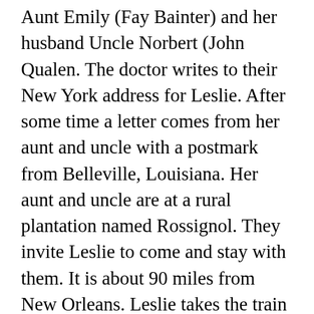Aunt Emily (Fay Bainter) and her husband Uncle Norbert (John Qualen. The doctor writes to their New York address for Leslie. After some time a letter comes from her aunt and uncle with a postmark from Belleville, Louisiana. Her aunt and uncle are at a rural plantation named Rossignol. They invite Leslie to come and stay with them. It is about 90 miles from New Orleans. Leslie takes the train to Belleville but no one is waiting to pick her up. The station manager tells her that the plantation is on Bayou Grantere but he has never heard of her aunt and uncle. She waits at the station for a while but eventually passes out from heat and stress. When she awakes she is being tended by a young handsome Dr. George Grover (Franchot Tone. She wants to go back but George says he will take her